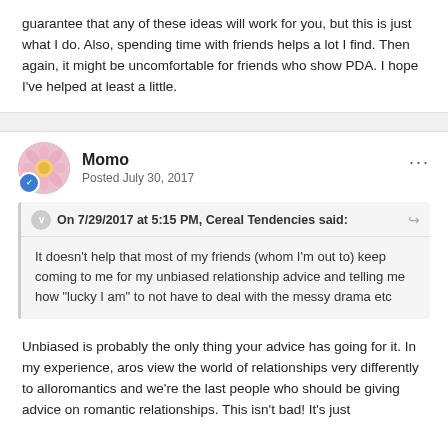guarantee that any of these ideas will work for you, but this is just what I do. Also, spending time with friends helps a lot I find. Then again, it might be uncomfortable for friends who show PDA. I hope I've helped at least a little.
Momo
Posted July 30, 2017
On 7/29/2017 at 5:15 PM, Cereal Tendencies said:
It doesn't help that most of my friends (whom I'm out to) keep coming to me for my unbiased relationship advice and telling me how "lucky I am" to not have to deal with the messy drama etc
Unbiased is probably the only thing your advice has going for it. In my experience, aros view the world of relationships very differently to alloromantics and we're the last people who should be giving advice on romantic relationships. This isn't bad! It's just